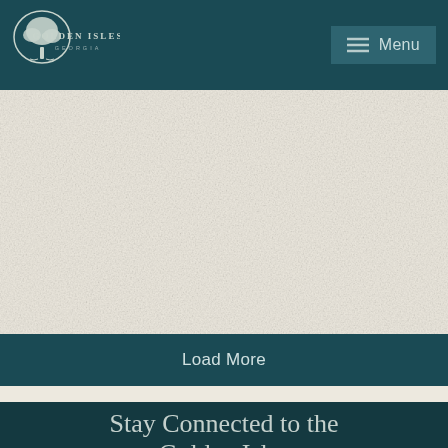Golden Isles Georgia — Menu
[Figure (other): Light parchment textured background content area]
Load More
Stay Connected to the Golden Isles